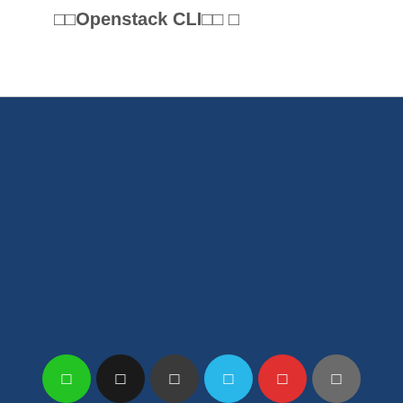□□Openstack CLI□□ □
[Figure (other): Large dark blue background section filling the middle of the page]
[Figure (infographic): Row of six circular social media / sharing icon buttons: green, black, dark brown, light blue, red, and gray, partially visible at the bottom of the page]